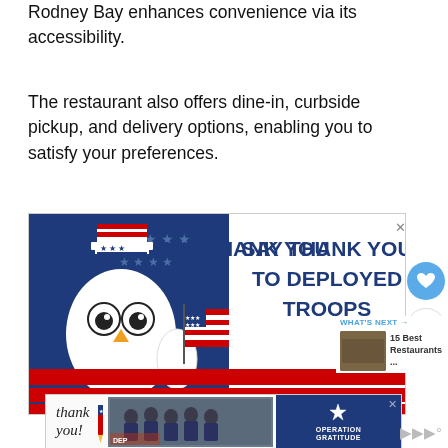Rodney Bay enhances convenience via its accessibility.
The restaurant also offers dine-in, curbside pickup, and delivery options, enabling you to satisfy your preferences.
[Figure (illustration): Advertisement banner: 'SAY THANK YOU TO DEPLOYED TROOPS' with Uncle Sam owl holding American flag on patriotic red, white and blue background.]
[Figure (photo): Bottom advertisement banner: 'Thank you!' handwritten text with American flag pencil, group photo of firefighters/military personnel, and Operation Gratitude logo on navy background.]